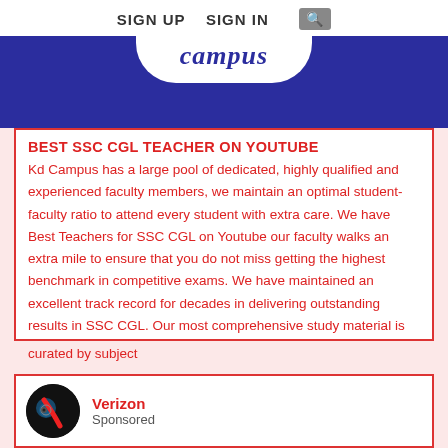SIGN UP   SIGN IN   🔍
[Figure (logo): KD Campus logo — white pill shape on dark blue banner background with the word 'campus' in italic script]
BEST SSC CGL TEACHER ON YOUTUBE
Kd Campus has a large pool of dedicated, highly qualified and experienced faculty members, we maintain an optimal student-faculty ratio to attend every student with extra care. We have Best Teachers for SSC CGL on Youtube our faculty walks an extra mile to ensure that you do not miss getting the highest benchmark in competitive exams. We have maintained an excellent track record for decades in delivering outstanding results in SSC CGL. Our most comprehensive study material is curated by subject
[Figure (logo): Verizon sponsored advertisement logo — circular black icon with Verizon V checkmark symbol]
Home Delivery